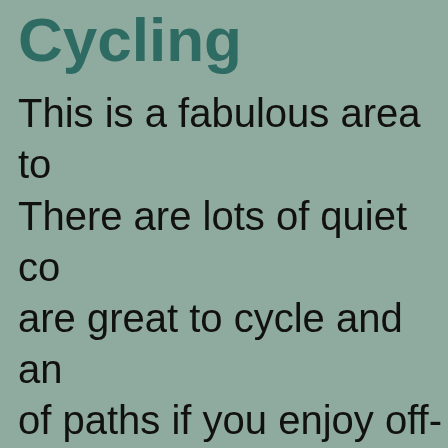Cycling
This is a fabulous area to cycle. There are lots of quiet country lanes that are great to cycle and an abundance of paths if you enjoy off-road cycling. Cambria (National Cycle Route 8) is a picturesque 110 mile route that starts in Shrewsbury and passes through Newtown. The Radnor Ring (cycle route 25) is a delightful 20...